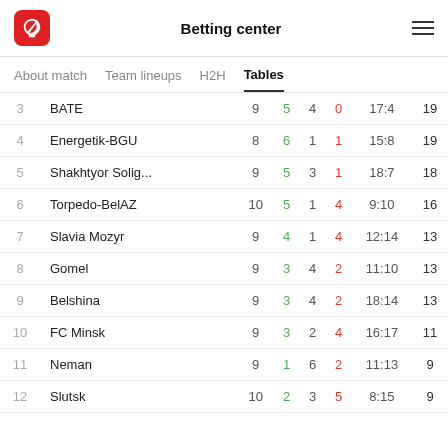Betting center
| # | Team | P | W | D | L | Goals | Pts |
| --- | --- | --- | --- | --- | --- | --- | --- |
| 3 | BATE | 9 | 5 | 4 | 0 | 17:4 | 19 |
| 4 | Energetik-BGU | 8 | 6 | 1 | 1 | 15:8 | 19 |
| 5 | Shakhtyor Solig... | 9 | 5 | 3 | 1 | 18:7 | 18 |
| 6 | Torpedo-BelAZ | 10 | 5 | 1 | 4 | 9:10 | 16 |
| 7 | Slavia Mozyr | 9 | 4 | 1 | 4 | 12:14 | 13 |
| 8 | Gomel | 9 | 3 | 4 | 2 | 11:10 | 13 |
| 9 | Belshina | 9 | 3 | 4 | 2 | 18:14 | 13 |
| 10 | FC Minsk | 9 | 3 | 2 | 4 | 16:17 | 11 |
| 11 | Neman | 9 | 1 | 6 | 2 | 11:13 | 9 |
| 12 | Slutsk | 10 | 2 | 3 | 5 | 8:15 | 9 |